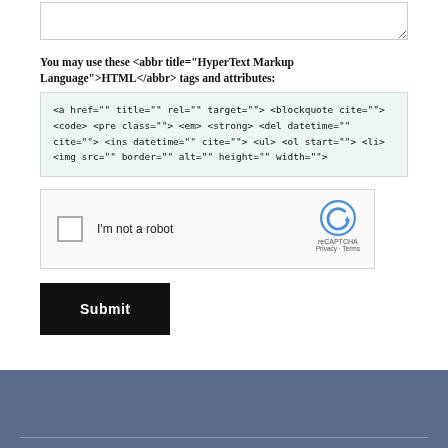You may use these <abbr title="HyperText Markup Language">HTML</abbr> tags and attributes:
<a href="" title="" rel="" target=""> <blockquote cite=""> <code> <pre class=""> <em> <strong> <del datetime="" cite=""> <ins datetime="" cite=""> <ul> <ol start=""> <li> <img src="" border="" alt="" height="" width="">
[Figure (screenshot): reCAPTCHA widget with checkbox labeled 'I'm not a robot' and Google reCAPTCHA logo]
Submit